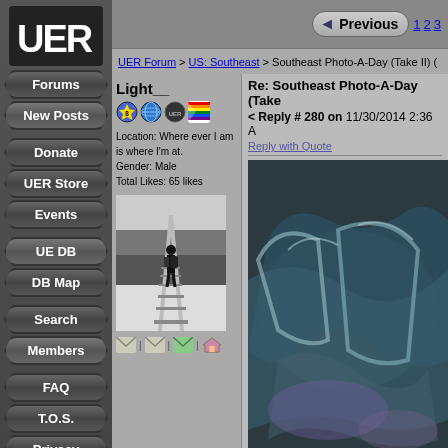[Figure (screenshot): UER website logo — white bold text 'UER' on dark background]
Forums
New Posts
Donate
UER Store
Events
UE DB
DB Map
Search
Members
FAQ
T.O.S.
Privacy
Register
Login
Previous  1 2 3
UER Forum > US: Southeast > Southeast Photo-A-Day (Take II) (
Light__
Location: Where ever I am is where I'm at.
Gender: Male
Total Likes: 65 likes
[Figure (photo): Black and white photo of a person with a backpack walking along railroad tracks into the distance, surrounded by trees]
Re: Southeast Photo-A-Day (Take
< Reply # 280 on 11/30/2014 2:36 A
Reply with Quote
[Figure (photo): Colorful graffiti on a wall, dark teal/blue colors with stylized letters, partial view]